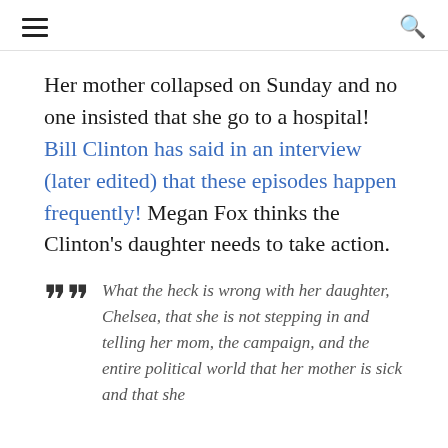≡  🔍
Her mother collapsed on Sunday and no one insisted that she go to a hospital!  Bill Clinton has said in an interview (later edited) that these episodes happen frequently!  Megan Fox thinks the Clinton's daughter needs to take action.
What the heck is wrong with her daughter, Chelsea, that she is not stepping in and telling her mom, the campaign, and the entire political world that her mother is sick and that she